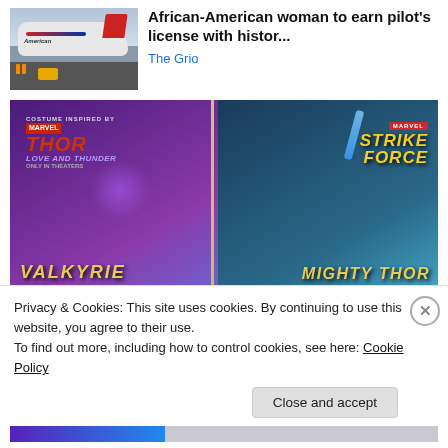[Figure (photo): American Airlines airplane on tarmac with ground crew and baggage loaders]
African-American woman to earn pilot's license with histor...
The Grio
[Figure (illustration): Marvel Strike Force advertisement featuring Valkyrie and Mighty Thor characters from Thor Love and Thunder movie]
Privacy & Cookies: This site uses cookies. By continuing to use this website, you agree to their use.
To find out more, including how to control cookies, see here: Cookie Policy
Close and accept